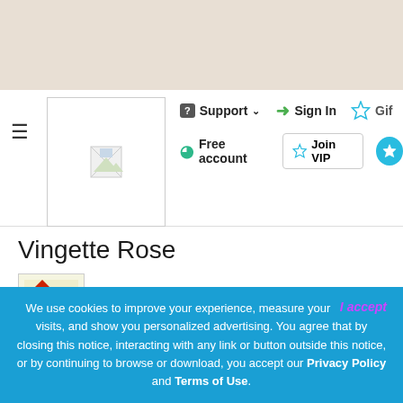Support | Sign In | Gift | Free account | Join VIP
Vingette Rose
CREATED BY Onyxium [TR flag] Featured Artist ★
4,046 DOWNLOADS   3 COMMENTS
See more and download
We use cookies to improve your experience, measure your visits, and show you personalized advertising. You agree that by closing this notice, interacting with any link or button outside this notice, or by continuing to browse or download, you accept our Privacy Policy and Terms of Use.